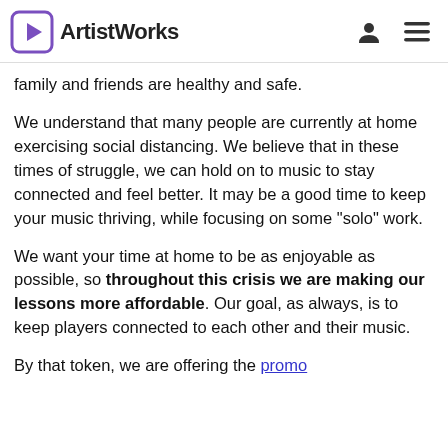AristWorks
family and friends are healthy and safe.
We understand that many people are currently at home exercising social distancing. We believe that in these times of struggle, we can hold on to music to stay connected and feel better. It may be a good time to keep your music thriving, while focusing on some "solo" work.
We want your time at home to be as enjoyable as possible, so throughout this crisis we are making our lessons more affordable. Our goal, as always, is to keep players connected to each other and their music.
By that token, we are offering the promo